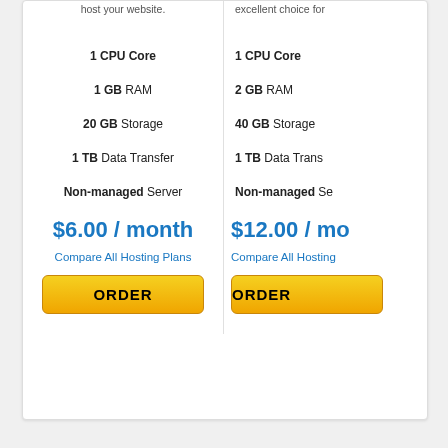host your website.
excellent choice for
1 CPU Core
1 CPU Core
1 GB RAM
2 GB RAM
20 GB Storage
40 GB Storage
1 TB Data Transfer
1 TB Data Transfer
Non-managed Server
Non-managed Server
$6.00 / month
$12.00 / month
Compare All Hosting Plans
Compare All Hosting Plans
ORDER
ORDER